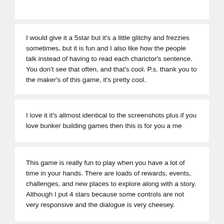I would give it a 5star but it's a little glitchy and frezzies sometimes, but it is fun and I also like how the people talk instead of having to read each charictor's sentence. You don't see that often, and that's cool. P.s. thank you to the maker's of this game, it's pretty cool.
I love it it's allmost identical to the screenshots plus if you love bunker building games then this is for you a me
This game is really fun to play when you have a lot of time in your hands. There are loads of rewards, events, challenges, and new places to explore along with a story. Although I put 4 stars because some controls are not very responsive and the dialogue is very cheesey.